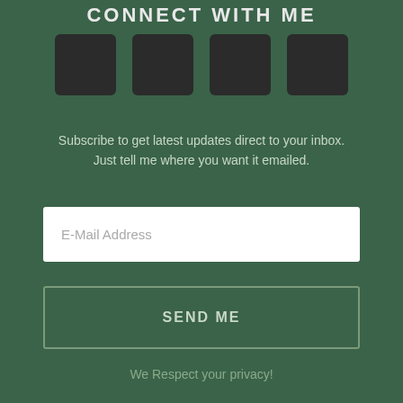CONNECT WITH ME
[Figure (other): Four dark square social media icon placeholders arranged in a horizontal row]
Subscribe to get latest updates direct to your inbox. Just tell me where you want it emailed.
E-Mail Address
SEND ME
We Respect your privacy!